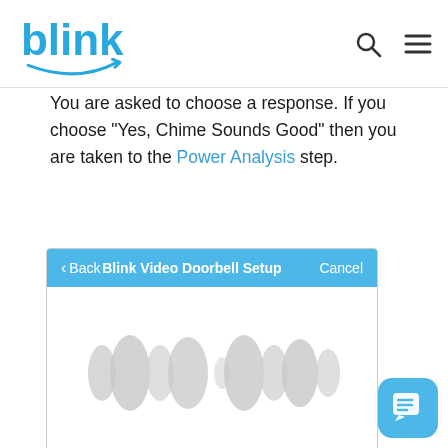blink
You are asked to choose a response. If you choose "Yes, Chime Sounds Good" then you are taken to the Power Analysis step.
[Figure (screenshot): Mobile app screenshot showing Blink Video Doorbell Setup screen with a sound waveform graphic in the center on a white background. The top bar is blue with Back, Blink Video Doorbell Setup title, and Cancel button.]